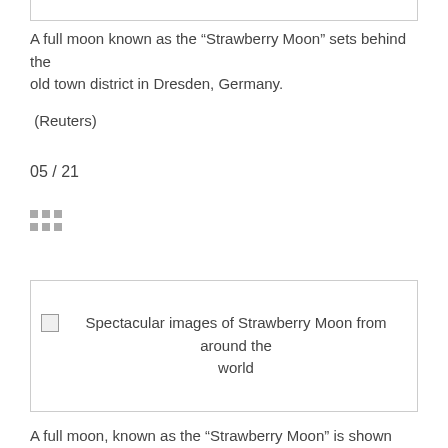A full moon known as the “Strawberry Moon” sets behind the old town district in Dresden, Germany.
(Reuters)
05 / 21
[Figure (other): Grid/thumbnail navigation icon (3x2 dot grid)]
[Figure (photo): Broken image placeholder with caption: Spectacular images of Strawberry Moon from around the world]
Spectacular images of Strawberry Moon from around the world
A full moon, known as the “Strawberry Moon” is shown with NASA’s next-generation moon rocket, the Space Launch